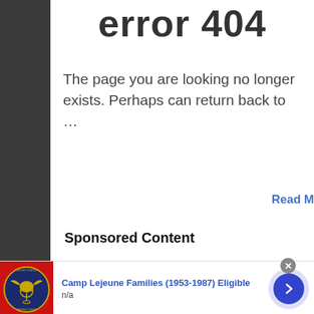error 404
The page you are looking no longer exists. Perhaps can return back to …
Read M
Sponsored Content
[Figure (other): Pagination dots: one large filled dark circle and one smaller gray circle]
[Figure (screenshot): Footer bar with vB4 Default Style - Liquid dropdown, Contact Us and The Apricity Hom links]
[Figure (other): Ad banner: United States Marine Corps emblem on red background, text Camp Lejeune Families (1953-1987) Eligible, n/a, with blue arrow button and close X]
[Figure (other): Gray strip at bottom of page]